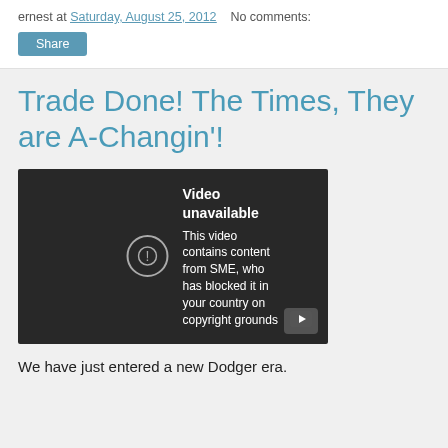ernest at Saturday, August 25, 2012   No comments:
Share
Trade Done! The Times, They are A-Changin'!
[Figure (screenshot): Embedded YouTube video player showing 'Video unavailable' message: 'This video contains content from SME, who has blocked it in your country on copyright grounds']
We have just entered a new Dodger era.